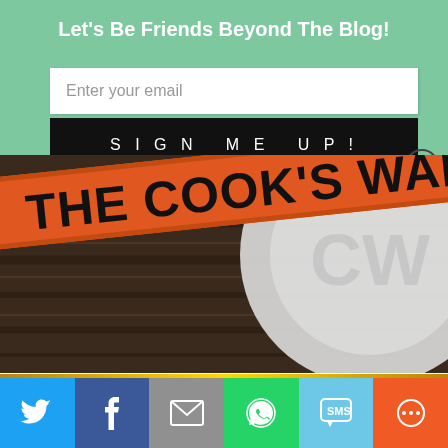Let's Be Friends Beyond The Blog!
Enter your email
SIGN ME UP!
[Figure (photo): Close-up photo of a book or magazine with orange banner reading 'THE COOK'S WAR' with a white plate/disc partially visible, on a dark wood surface.]
[Figure (infographic): Bottom social share bar with icons for Twitter, Facebook, Email, WhatsApp, SMS, and More sharing options on colored backgrounds.]